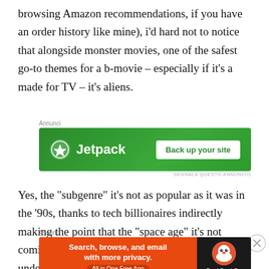browsing Amazon recommendations, if you have an order history like mine), i'd hard not to notice that alongside monster movies, one of the safest go-to themes for a b-movie – especially if it's a made for TV – it's aliens.
[Figure (screenshot): Jetpack advertisement banner with green background showing Jetpack logo and 'Back up your site' button]
Yes, the "subgenre" it's not as popular as it was in the '90s, thanks to tech billionaires indirectly making the point that the "space age" it's not coming anytime soon, and also making us quite undesirable to contact by the
[Figure (screenshot): DuckDuckGo advertisement banner with orange and dark background showing 'Search, browse, and email with more privacy. All in One Free App' and DuckDuckGo logo]